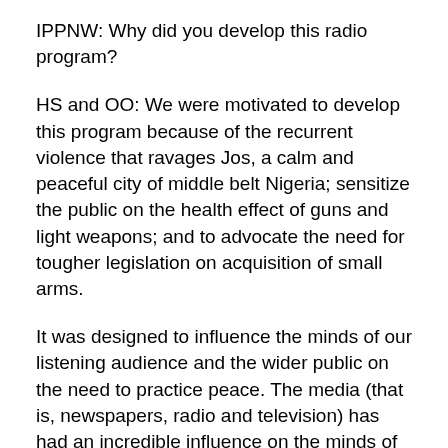IPPNW: Why did you develop this radio program?
HS and OO: We were motivated to develop this program because of the recurrent violence that ravages Jos, a calm and peaceful city of middle belt Nigeria; sensitize the public on the health effect of guns and light weapons; and to advocate the need for tougher legislation on acquisition of small arms.
It was designed to influence the minds of our listening audience and the wider public on the need to practice peace. The media (that is, newspapers, radio and television) has had an incredible influence on the minds of people and the quality of livelihood across the entire world over many decades. This informed our decision to go upstream and use the radio as a means to disseminate relevant and worthwhile research-based health information